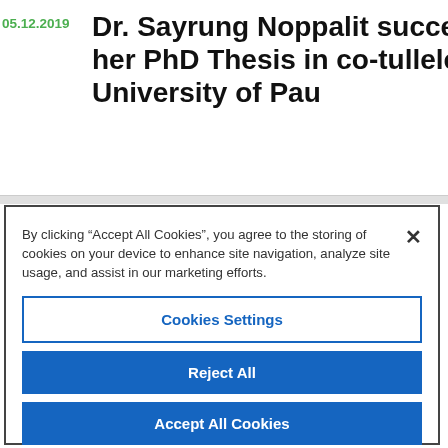05.12.2019
Dr. Sayrung Noppalit successfully defended her PhD Thesis in co-tullele regime, University of Pau
By clicking “Accept All Cookies”, you agree to the storing of cookies on your device to enhance site navigation, analyze site usage, and assist in our marketing efforts.
Cookies Settings
Reject All
Accept All Cookies